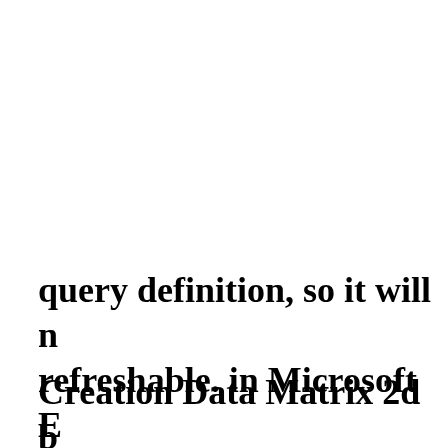query definition, so it will n... refreshable. in Microsoft E...
Creation Data Matrix 2d b... Excel query definition, so it...